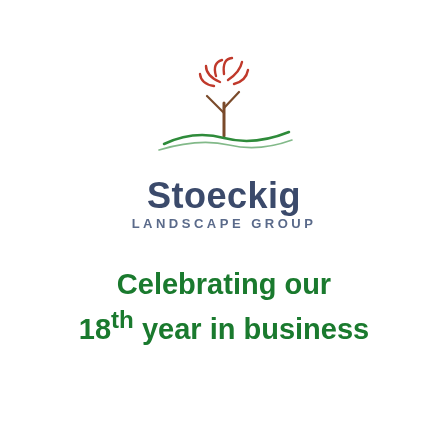[Figure (logo): Stoeckig Landscape Group logo: a stylized tree with red curved foliage lines and a brown trunk, above two green curved hill lines, with 'Stoeckig' in dark navy bold text and 'LANDSCAPE GROUP' in smaller spaced caps below]
Celebrating our 18th year in business